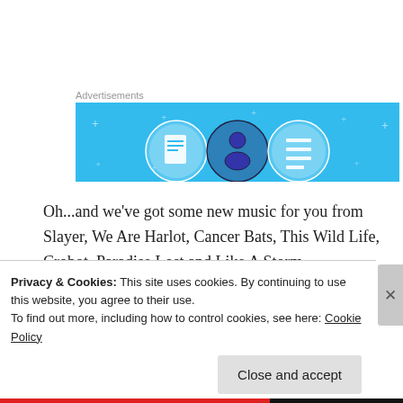Advertisements
[Figure (illustration): Advertisement banner with light blue background showing three circular icons with document/person/list imagery and small star/sparkle decorations]
Oh...and we've got some new music for you from Slayer, We Are Harlot, Cancer Bats, This Wild Life, Crobot, Paradise Lost and Like A Storm.
Privacy & Cookies: This site uses cookies. By continuing to use this website, you agree to their use.
To find out more, including how to control cookies, see here: Cookie Policy
Close and accept